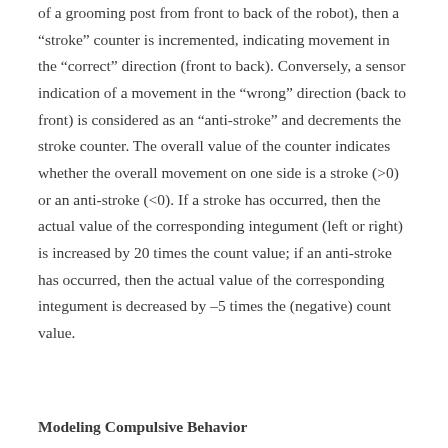of a grooming post from front to back of the robot), then a “stroke” counter is incremented, indicating movement in the “correct” direction (front to back). Conversely, a sensor indication of a movement in the “wrong” direction (back to front) is considered as an “anti-stroke” and decrements the stroke counter. The overall value of the counter indicates whether the overall movement on one side is a stroke (>0) or an anti-stroke (<0). If a stroke has occurred, then the actual value of the corresponding integument (left or right) is increased by 20 times the count value; if an anti-stroke has occurred, then the actual value of the corresponding integument is decreased by –5 times the (negative) count value.
Modeling Compulsive Behavior